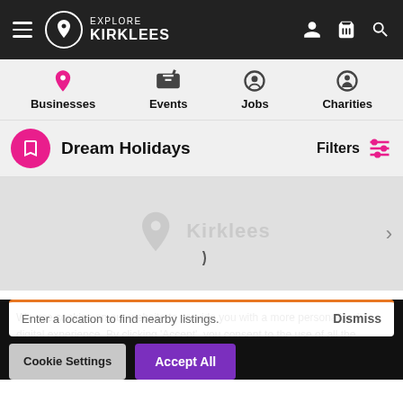Explore Kirklees
Businesses
Events
Jobs
Charities
Dream Holidays
Filters
[Figure (map): Map area with Explore Kirklees watermark logo and loading spinner, with a right arrow navigation button]
Enter a location to find nearby listings.
Dismiss
We use cookies on our website to provide you with a more personalised digital experience. By clicking 'Accept', you consent to the use of all the cookies.
Cookie Settings
Accept All